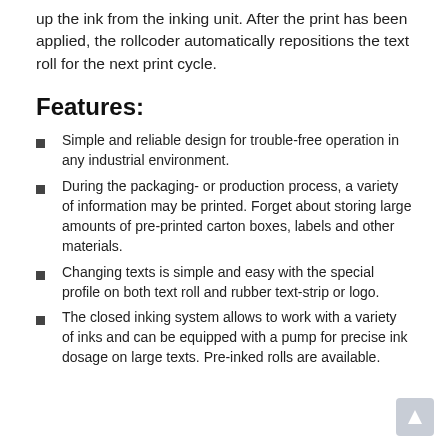up the ink from the inking unit. After the print has been applied, the rollcoder automatically repositions the text roll for the next print cycle.
Features:
Simple and reliable design for trouble-free operation in any industrial environment.
During the packaging- or production process, a variety of information may be printed. Forget about storing large amounts of pre-printed carton boxes, labels and other materials.
Changing texts is simple and easy with the special profile on both text roll and rubber text-strip or logo.
The closed inking system allows to work with a variety of inks and can be equipped with a pump for precise ink dosage on large texts. Pre-inked rolls are available.